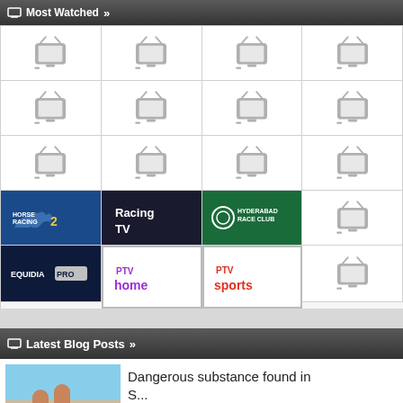Most Watched »
[Figure (other): Grid of TV channel logos and placeholder TV icons, 4 columns x 5 rows. Row 4 contains: Horse Racing 2, Racing TV, Hyderabad Race Club, placeholder. Row 5 contains: Equidia Pro, PTV Home, PTV Sports, placeholder.]
Latest Blog Posts »
[Figure (photo): Thumbnail photo showing legs of a person on a beach]
Dangerous substance found in S...